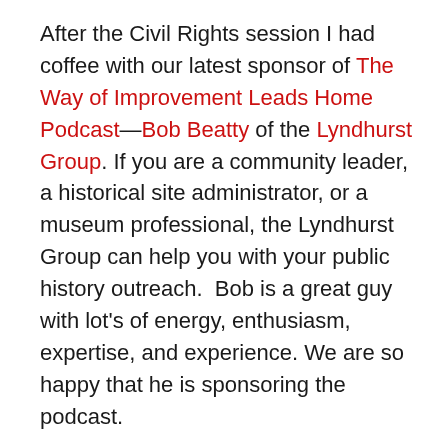After the Civil Rights session I had coffee with our latest sponsor of The Way of Improvement Leads Home Podcast—Bob Beatty of the Lyndhurst Group. If you are a community leader, a historical site administrator, or a museum professional, the Lyndhurst Group can help you with your public history outreach.  Bob is a great guy with lot's of energy, enthusiasm, expertise, and experience. We are so happy that he is sponsoring the podcast.
After the CFH board meeting, I dropped in on Robert Orsi's plenary address, "The Study of Religion on the Other Side of Disgust."  Orsi argued that scholars of religion must learn to pay attention to the relationship between religion and "horrors" such as